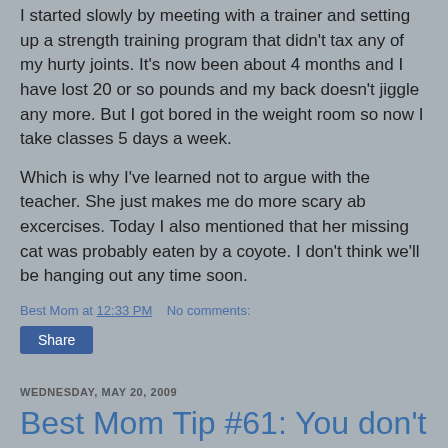I started slowly by meeting with a trainer and setting up a strength training program that didn't tax any of my hurty joints. It's now been about 4 months and I have lost 20 or so pounds and my back doesn't jiggle any more. But I got bored in the weight room so now I take classes 5 days a week.
Which is why I've learned not to argue with the teacher. She just makes me do more scary ab excercises. Today I also mentioned that her missing cat was probably eaten by a coyote. I don't think we'll be hanging out any time soon.
Best Mom at 12:33 PM    No comments:
Share
WEDNESDAY, MAY 20, 2009
Best Mom Tip #61: You don't HAVE to share if you don't want to
You may have noticed that I haven't posted anything for